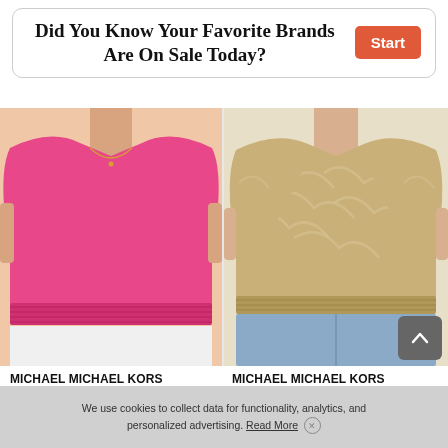Did You Know Your Favorite Brands Are On Sale Today?
[Figure (photo): Woman wearing pink MICHAEL MICHAEL KORS Kimono Top with white pants]
[Figure (photo): Woman wearing tan/beige MICHAEL MICHAEL KORS Palm Kimono Top with blue wide-leg pants]
MICHAEL MICHAEL KORS
Kimono Top
$74.00  $55.99
MICHAEL MICHAEL KORS
Palm Kimono Top
$74.00  $40.99
We use cookies to collect data for functionality, analytics, and personalized advertising. Read More